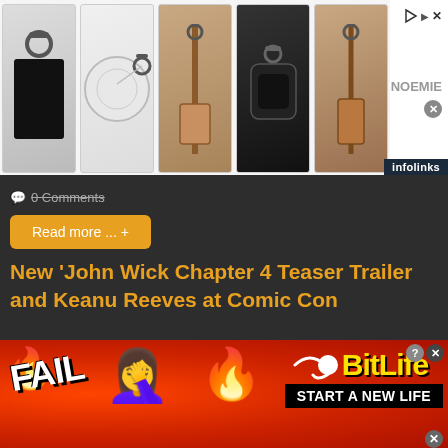[Figure (screenshot): Top advertisement banner showing 5 bag/pouch product images (black leather key pouch, white round coin purse, brown crossbody strap, black AirPods case, brown crossbody bag) with NOEMIE branding and infolinks label]
0 Comments
Read more ... +
New 'John Wick Chapter 4 Teaser Trailer and Keanu Reeves at Comic Con
Last Updated: Saturday, 23 July 2022 01:01
Written by Lupe R Haas
Email
[Figure (photo): Partial movie still image showing dark scene from John Wick Chapter 4]
[Figure (screenshot): Bottom advertisement banner for BitLife game with FAIL text, emoji, flame, and START A NEW LIFE tagline on red background]